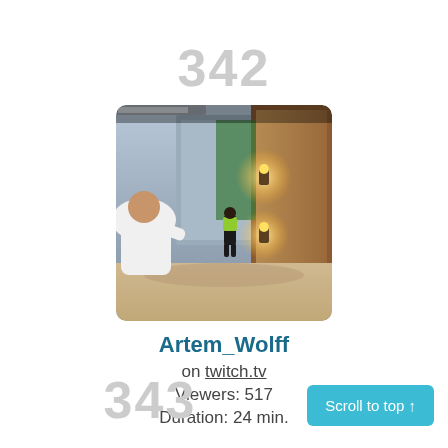342
[Figure (screenshot): Thumbnail image of a stream showing a street scene at night with illuminated brick walls and a person in the foreground wearing a white shirt, and another person in the distance.]
Artem_Wolff
on twitch.tv
Viewers: 517
Duration: 24 min.
343
Scroll to top ↑